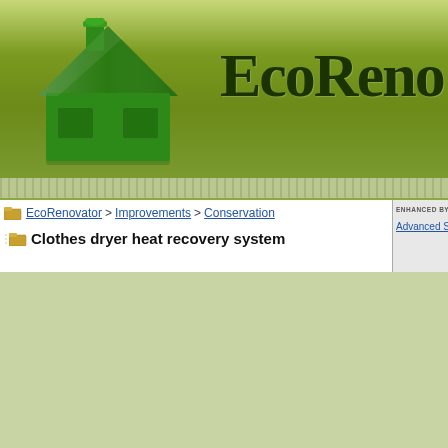[Figure (screenshot): EcoRenovator website header banner with green gradient background, green plastic monopoly-style house figure on left, and partial site title 'EcoReno' in decorative serif font on right]
EcoRenovator > Improvements > Conservation
Clothes dryer heat recovery system
ENHANCED BY | Advanced Sea...